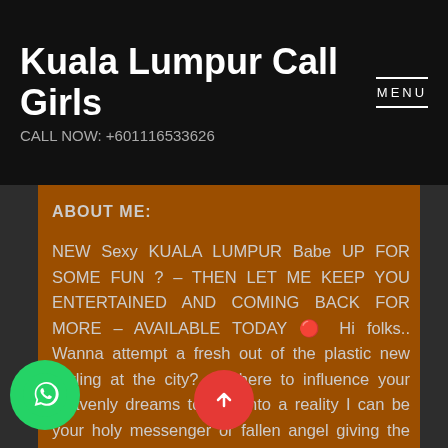Kuala Lumpur Call Girls
CALL NOW: +601116533626
ABOUT ME:
NEW Sexy KUALA LUMPUR Babe UP FOR SOME FUN ? – THEN LET ME KEEP YOU ENTERTAINED AND COMING BACK FOR MORE – AVAILABLE TODAY 🔴 Hi folks.. Wanna attempt a fresh out of the plastic new darling at the city? am here to influence your heavenly dreams to turn into a reality I can be your holy messenger or fallen angel giving the most astonishing joy you have ever experienced.